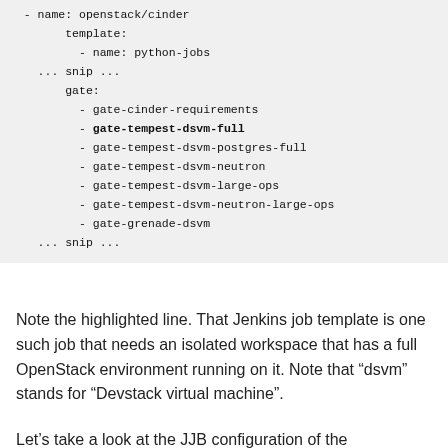- name: openstack/cinder
    template:
      - name: python-jobs
... snip ...
    gate:
      - gate-cinder-requirements
      - gate-tempest-dsvm-full
      - gate-tempest-dsvm-postgres-full
      - gate-tempest-dsvm-neutron
      - gate-tempest-dsvm-large-ops
      - gate-tempest-dsvm-neutron-large-ops
      - gate-grenade-dsvm
... snip ...
Note the highlighted line. That Jenkins job template is one such job that needs an isolated workspace that has a full OpenStack environment running on it. Note that “dsvm” stands for “Devstack virtual machine”.
Let’s take a look at the JJB configuration of the